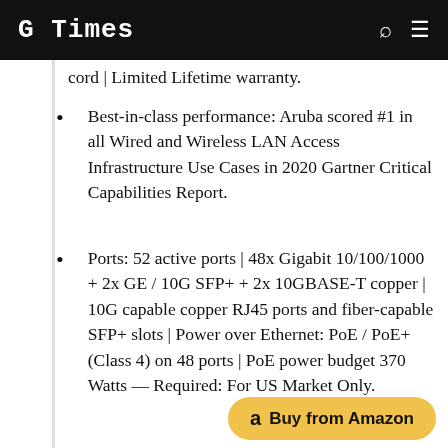G Times
cord | Limited Lifetime warranty.
Best-in-class performance: Aruba scored #1 in all Wired and Wireless LAN Access Infrastructure Use Cases in 2020 Gartner Critical Capabilities Report.
Ports: 52 active ports | 48x Gigabit 10/100/1000 + 2x GE / 10G SFP+ + 2x 10GBASE-T copper | 10G capable copper RJ45 ports and fiber-capable SFP+ slots | Power over Ethernet: PoE / PoE+ (Class 4) on 48 ports | PoE power budget 370 Watts — Required: For US Market Only.